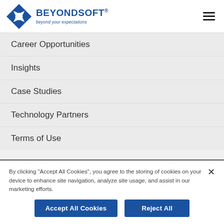[Figure (logo): BeyondSoft logo with blue diamond/cross shape and text 'BEYONDSOFT® beyond your expectations']
Career Opportunities
Insights
Case Studies
Technology Partners
Terms of Use
By clicking "Accept All Cookies", you agree to the storing of cookies on your device to enhance site navigation, analyze site usage, and assist in our marketing efforts.
Accept All Cookies
Reject All